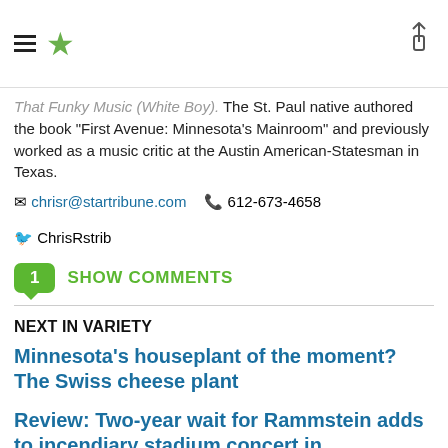Star Tribune header with hamburger menu and star logo
That Funky Music (White Boy). The St. Paul native authored the book "First Avenue: Minnesota's Mainroom" and previously worked as a music critic at the Austin American-Statesman in Texas.
chrisr@startribune.com  612-673-4658  ChrisRstrib
1 SHOW COMMENTS
NEXT IN VARIETY
Minnesota's houseplant of the moment? The Swiss cheese plant
Review: Two-year wait for Rammstein adds to incendiary stadium concert in Minneapolis
9 prog